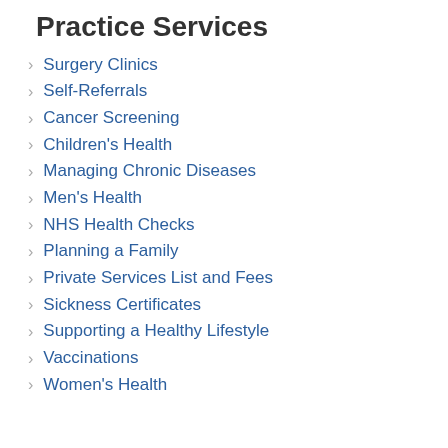Practice Services
Surgery Clinics
Self-Referrals
Cancer Screening
Children's Health
Managing Chronic Diseases
Men's Health
NHS Health Checks
Planning a Family
Private Services List and Fees
Sickness Certificates
Supporting a Healthy Lifestyle
Vaccinations
Women's Health